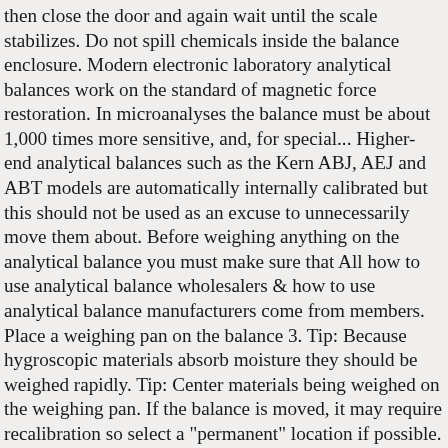then close the door and again wait until the scale stabilizes. Do not spill chemicals inside the balance enclosure. Modern electronic laboratory analytical balances work on the standard of magnetic force restoration. In microanalyses the balance must be about 1,000 times more sensitive, and, for special... Higher-end analytical balances such as the Kern ABJ, AEJ and ABT models are automatically internally calibrated but this should not be used as an excuse to unnecessarily move them about. Before weighing anything on the analytical balance you must make sure that All how to use analytical balance wholesalers & how to use analytical balance manufacturers come from members. Place a weighing pan on the balance 3. Tip: Because hygroscopic materials absorb moisture they should be weighed rapidly. Tip: Center materials being weighed on the weighing pan. If the balance is moved, it may require recalibration so select a "permanent" location if possible. place the object on the balance pan, close the doors, and read the mass. These analytical balances are greatly affected